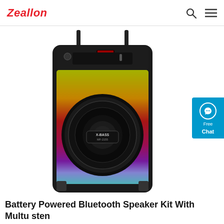Zeallon
[Figure (photo): A colorful LED-lit Bluetooth speaker (X-Bass MF-2155) with rainbow gradient lighting on the grille, a large circular woofer in the center, and a control panel at the top. Two carrying straps hang from the top.]
Battery Powered Bluetooth Speaker Kit With Multimaster